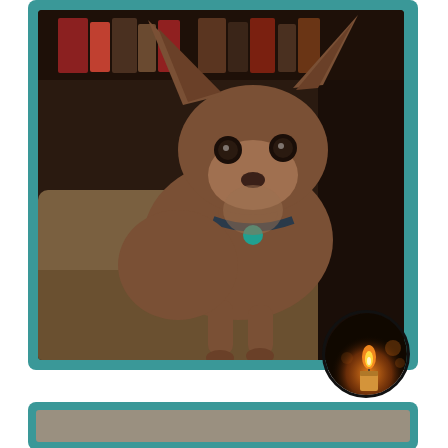[Figure (photo): A Chihuahua dog standing and looking at the camera, brown/chocolate colored with large ears, wearing a teal tag collar, photographed indoors with bookshelves in background. The photo is framed with a teal/dark cyan border. A circular candle/memorial badge overlaps the bottom-right corner of the photo frame.]
Kerbee
[Figure (photo): Partial view of a second pet photo card with teal border, only the top portion visible at bottom of page.]